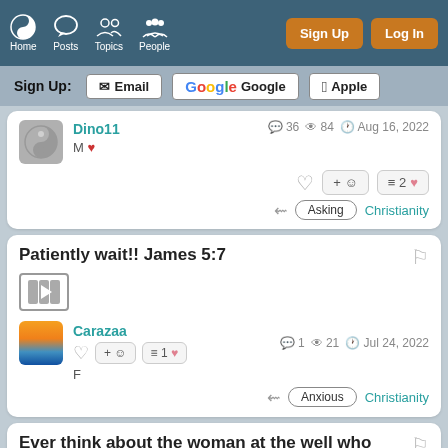Home Posts Topics People | Sign Up  Log In
Sign Up: Email  Google  Apple
Dino11 M ❤  36  84  Aug 16, 2022  Asking  Christianity
Patiently wait!! James 5:7
Carazaa F  1  21  Jul 24, 2022  Anxious  Christianity
Ever think about the woman at the well who